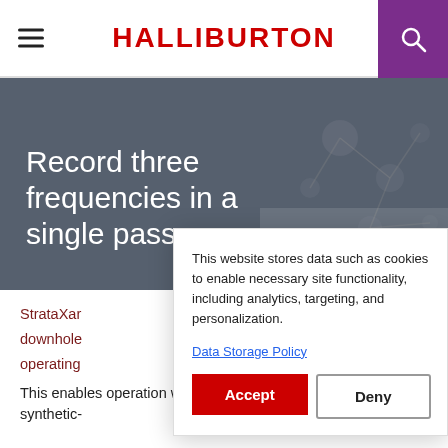HALLIBURTON
Record three frequencies in a single pass
StrataXar downhole operating
This enables operation with oil or synthetic-
This website stores data such as cookies to enable necessary site functionality, including analytics, targeting, and personalization.
Data Storage Policy
Accept
Deny